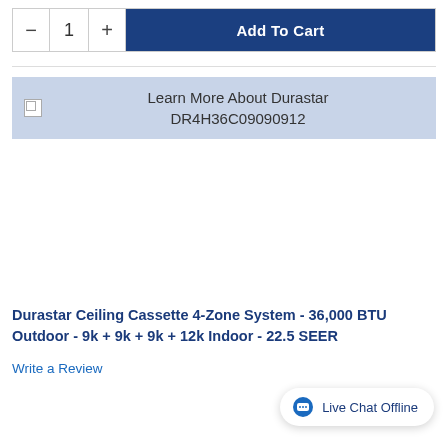[Figure (screenshot): Add to Cart button with quantity selector showing minus button, 1, plus button, and a dark blue Add To Cart button]
[Figure (screenshot): Learn More About Durastar DR4H36C09090912 banner with broken image icon on light blue background]
Durastar Ceiling Cassette 4-Zone System - 36,000 BTU Outdoor - 9k + 9k + 9k + 12k Indoor - 22.5 SEER
Write a Review